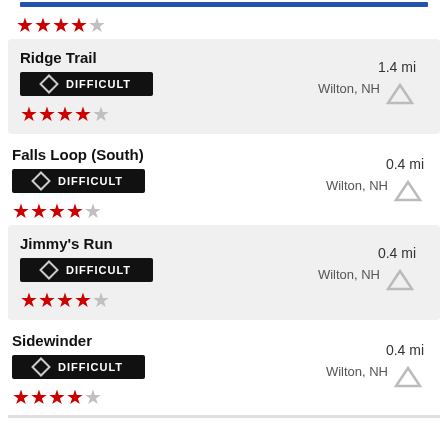Top item (partial) - 4 stars out of 5
Ridge Trail, 1.4 mi, Wilton NH, DIFFICULT, 4 stars
Falls Loop (South), 0.4 mi, Wilton NH, DIFFICULT, 4 stars
Jimmy's Run, 0.4 mi, Wilton NH, DIFFICULT, 4 stars
Sidewinder, 0.4 mi, Wilton NH, DIFFICULT, 4 stars